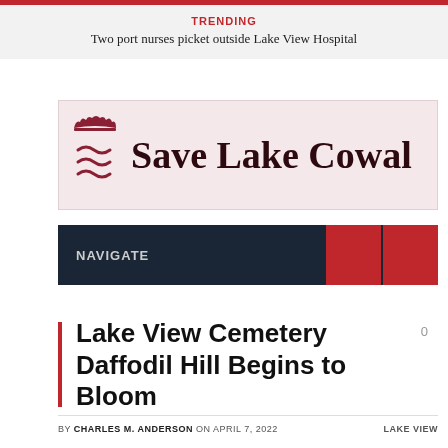TRENDING
Two port nurses picket outside Lake View Hospital
[Figure (logo): Save Lake Cowal logo with pink/rose background, dark red icon on left showing stylized fish/wave symbol, and bold dark text reading 'Save Lake Cowal']
NAVIGATE
Lake View Cemetery Daffodil Hill Begins to Bloom
BY CHARLES M. ANDERSON ON APRIL 7, 2022   LAKE VIEW